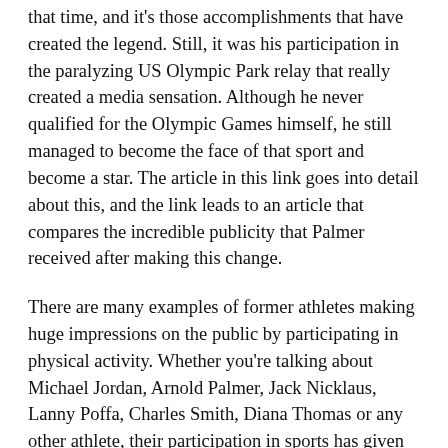that time, and it's those accomplishments that have created the legend. Still, it was his participation in the paralyzing US Olympic Park relay that really created a media sensation. Although he never qualified for the Olympic Games himself, he still managed to become the face of that sport and become a star. The article in this link goes into detail about this, and the link leads to an article that compares the incredible publicity that Palmer received after making this change.
There are many examples of former athletes making huge impressions on the public by participating in physical activity. Whether you're talking about Michael Jordan, Arnold Palmer, Jack Nicklaus, Lanny Poffa, Charles Smith, Diana Thomas or any other athlete, their participation in sports has given them a whole new level of respect for the game and increased their popularity. Whether they played sports at a high school, college, or in the Olympics, their participation in a sport makes that sport more accessible to people who would not normally be able to view it. By putting their talents to good use, those